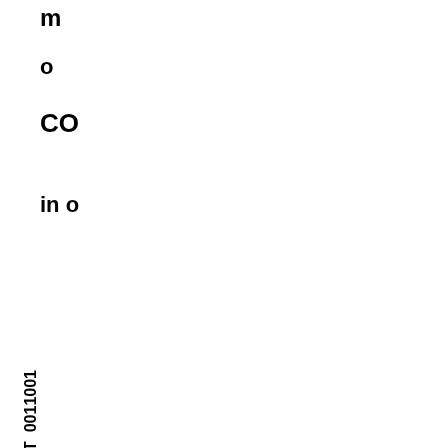m
o
CO
in o
L0043/LT 0011001
< i
LU
o
o
o